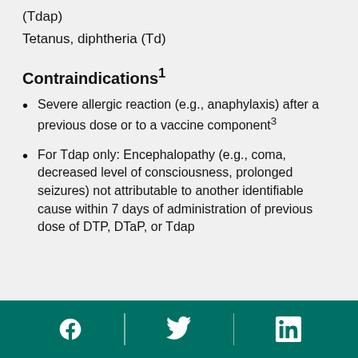(Tdap)
Tetanus, diphtheria (Td)
Contraindications¹
Severe allergic reaction (e.g., anaphylaxis) after a previous dose or to a vaccine component³
For Tdap only: Encephalopathy (e.g., coma, decreased level of consciousness, prolonged seizures) not attributable to another identifiable cause within 7 days of administration of previous dose of DTP, DTaP, or Tdap
Social media icons: Facebook, Twitter, LinkedIn